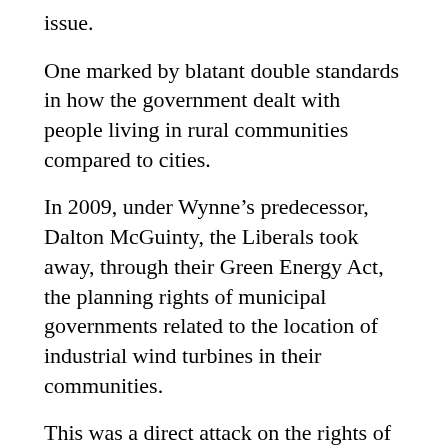issue.
One marked by blatant double standards in how the government dealt with people living in rural communities compared to cities.
In 2009, under Wynne's predecessor, Dalton McGuinty, the Liberals took away, through their Green Energy Act, the planning rights of municipal governments related to the location of industrial wind turbines in their communities.
This was a direct attack on the rights of citizens in rural Ontario, since industrial wind farms don't operate in big cities for obvious reasons.
Imagine the reaction in Toronto if the Liberals had wiped out local planning rights on issues such as a developer wanting to build a 50-storey apartment building in a residential neighbourhood.
And yet rural Ontarians lost their say in the location of